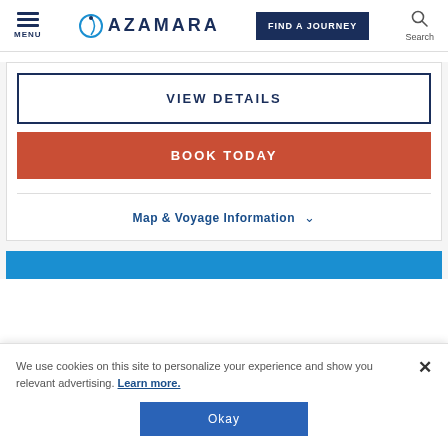MENU | AZAMARA | FIND A JOURNEY | Search
VIEW DETAILS
BOOK TODAY
Map & Voyage Information
We use cookies on this site to personalize your experience and show you relevant advertising. Learn more.
Okay